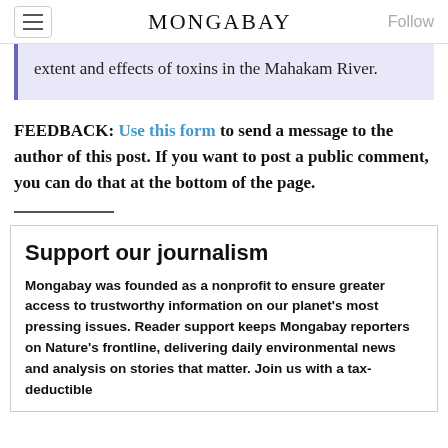MONGABAY
extent and effects of toxins in the Mahakam River.
FEEDBACK: Use this form to send a message to the author of this post. If you want to post a public comment, you can do that at the bottom of the page.
Support our journalism
Mongabay was founded as a nonprofit to ensure greater access to trustworthy information on our planet's most pressing issues. Reader support keeps Mongabay reporters on Nature's frontline, delivering daily environmental news and analysis on stories that matter. Join us with a tax-deductible